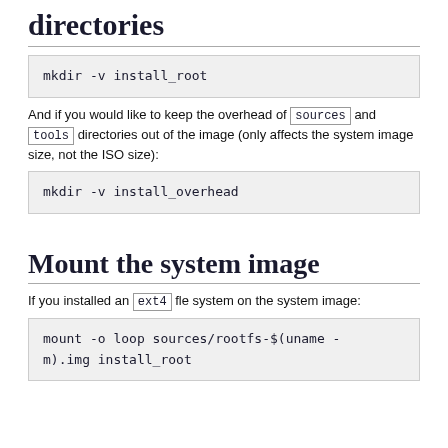directories
mkdir -v install_root
And if you would like to keep the overhead of sources and tools directories out of the image (only affects the system image size, not the ISO size):
mkdir -v install_overhead
Mount the system image
If you installed an ext4 fle system on the system image:
mount -o loop sources/rootfs-$(uname -m).img install_root